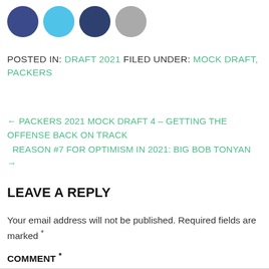[Figure (illustration): Four social media icon circles: dark navy/blue (Facebook), sky blue (Twitter), dark blue (Pinterest/share), and gray (other)]
POSTED IN: DRAFT 2021 FILED UNDER: MOCK DRAFT, PACKERS
← PACKERS 2021 MOCK DRAFT 4 – GETTING THE OFFENSE BACK ON TRACK
REASON #7 FOR OPTIMISM IN 2021: BIG BOB TONYAN →
LEAVE A REPLY
Your email address will not be published. Required fields are marked *
COMMENT *